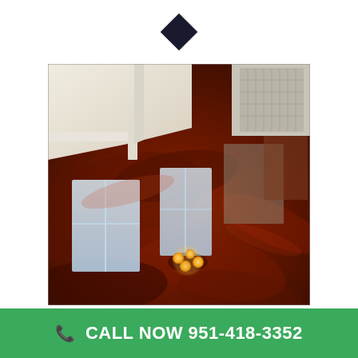[Figure (logo): Dark diamond/rhombus shaped logo at top center of page]
[Figure (photo): Interior room photo showing a highly reflective metallic epoxy floor with deep red-brown marbled finish. The floor reflects windows and a ceiling light fixture (chandelier with warm yellow bulbs). White walls and trim visible in the corner, with what appears to be a staircase railing reflected in the floor surface.]
CALL NOW 951-418-3352